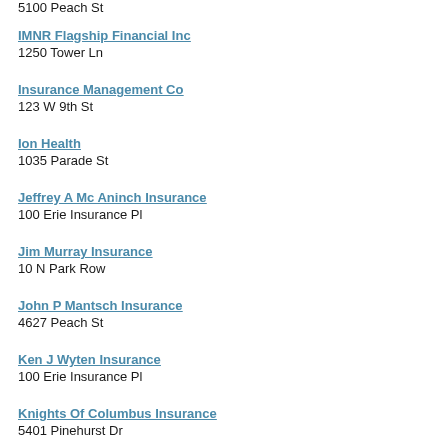5100 Peach St
IMNR Flagship Financial Inc
1250 Tower Ln
Insurance Management Co
123 W 9th St
Ion Health
1035 Parade St
Jeffrey A Mc Aninch Insurance
100 Erie Insurance Pl
Jim Murray Insurance
10 N Park Row
John P Mantsch Insurance
4627 Peach St
Ken J Wyten Insurance
100 Erie Insurance Pl
Knights Of Columbus Insurance
5401 Pinehurst Dr
Kostrubanic Insurance
3445 W 12th St